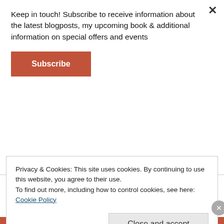Keep in touch! Subscribe to receive information about the latest blogposts, my upcoming book & additional information on special offers and events
Subscribe
Ready?
Okay, let me present to you: The lovingly composed main dish
Tools
Privacy & Cookies: This site uses cookies. By continuing to use this website, you agree to their use.
To find out more, including how to control cookies, see here: Cookie Policy
Close and accept